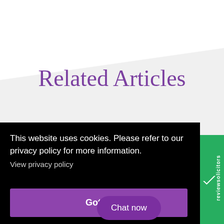Related Articles
This website uses cookies. Please refer to our privacy policy for more information.
View privacy policy
Got it!
Chat now